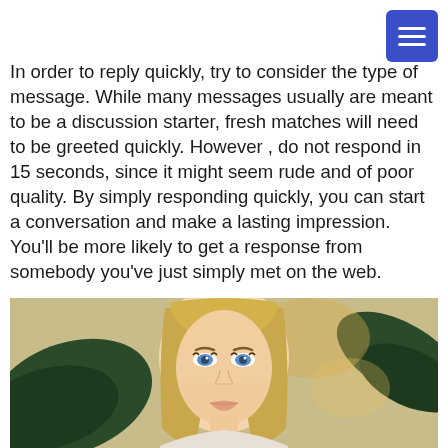In order to reply quickly, try to consider the type of message. While many messages usually are meant to be a discussion starter, fresh matches will need to be greeted quickly. However , do not respond in 15 seconds, since it might seem rude and of poor quality. By simply responding quickly, you can start a conversation and make a lasting impression. You'll be more likely to get a response from somebody you've just simply met on the web.
[Figure (photo): Close-up photo of a young blonde woman with blue eyes, surrounded by dark green tropical leaves (monstera plant), blurred warm background]